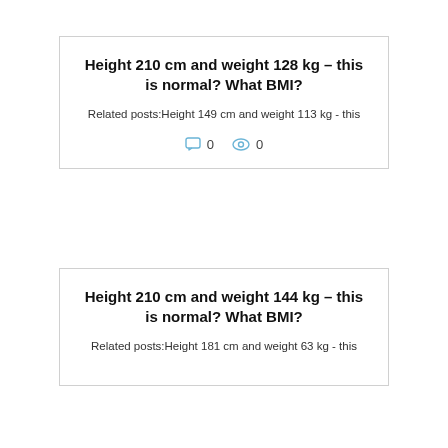Height 210 cm and weight 128 kg – this is normal? What BMI?
Related posts:Height 149 cm and weight 113 kg - this
Height 210 cm and weight 144 kg – this is normal? What BMI?
Related posts:Height 181 cm and weight 63 kg - this